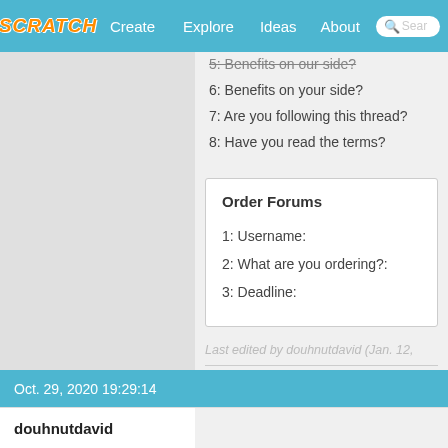SCRATCH  Create  Explore  Ideas  About  Search
5: Benefits on our side?
6: Benefits on your side?
7: Are you following this thread?
8: Have you read the terms?
Order Forums
1: Username:
2: What are you ordering?:
3: Deadline:
Last edited by douhnutdavid (Jan. 12,
15
Also im on
Oct. 29, 2020 19:29:14
douhnutdavid